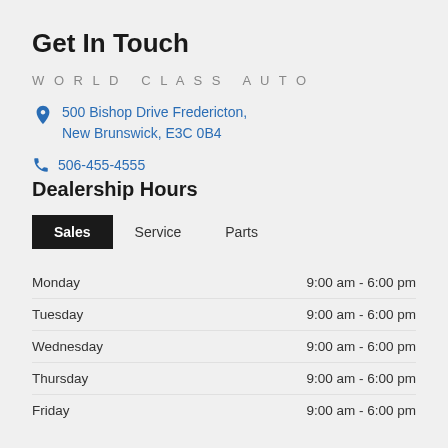Get In Touch
WORLD CLASS AUTO
500 Bishop Drive Fredericton, New Brunswick, E3C 0B4
506-455-4555
Dealership Hours
| Day | Hours |
| --- | --- |
| Monday | 9:00 am - 6:00 pm |
| Tuesday | 9:00 am - 6:00 pm |
| Wednesday | 9:00 am - 6:00 pm |
| Thursday | 9:00 am - 6:00 pm |
| Friday | 9:00 am - 6:00 pm |